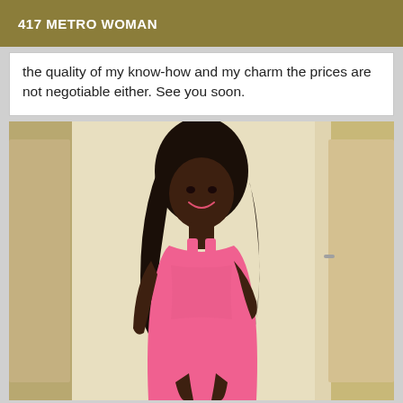417 METRO WOMAN
the quality of my know-how and my charm the prices are not negotiable either. See you soon.
[Figure (photo): A young woman wearing a pink dress, standing near a white door, smiling and looking over her shoulder. The room has beige/cream walls.]